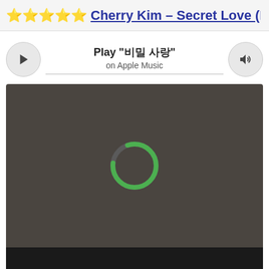⭐⭐⭐⭐⭐ Cherry Kim – Secret Love (Fe
[Figure (screenshot): Apple Music inline player widget showing play button, track title 'Play "비밀 사랑"' on Apple Music, volume button, and a video player area with dark background showing a green loading spinner ring]
x